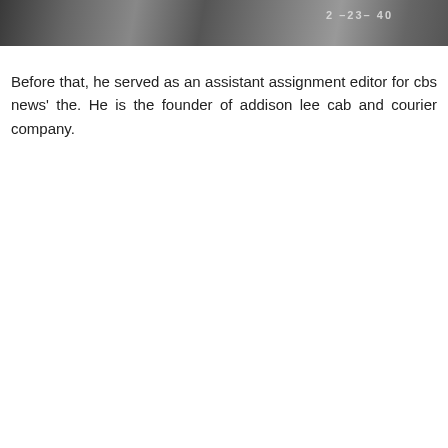[Figure (photo): Black and white photograph strip showing a dark grainy image with text '2-23-40' visible in the upper right area]
Before that, he served as an assistant assignment editor for cbs news' the. He is the founder of addison lee cab and courier company.